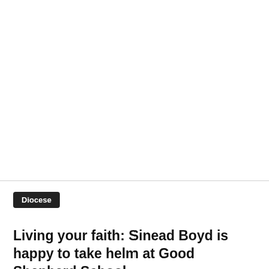[Figure (other): Large white/blank image area above the article content]
Diocese
Living your faith: Sinead Boyd is happy to take helm at Good Shepherd School...
Mike Lang, Dialog Reporter - 23 August 2022, 14:21